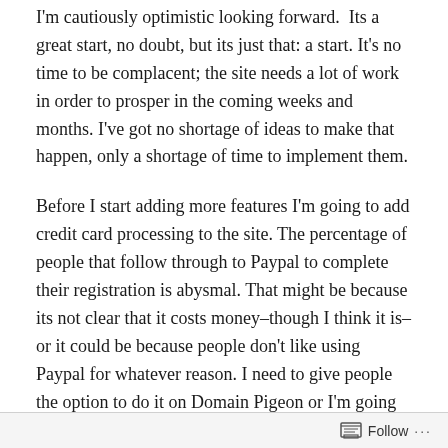I'm cautiously optimistic looking forward.  Its a great start, no doubt, but its just that: a start. It's no time to be complacent; the site needs a lot of work in order to prosper in the coming weeks and months. I've got no shortage of ideas to make that happen, only a shortage of time to implement them.
Before I start adding more features I'm going to add credit card processing to the site. The percentage of people that follow through to Paypal to complete their registration is abysmal. That might be because its not clear that it costs money–though I think it is–or it could be because people don't like using Paypal for whatever reason. I need to give people the option to do it on Domain Pigeon or I'm going to constantly wonder just how much of an impact its having on the revenue.
Follow ···